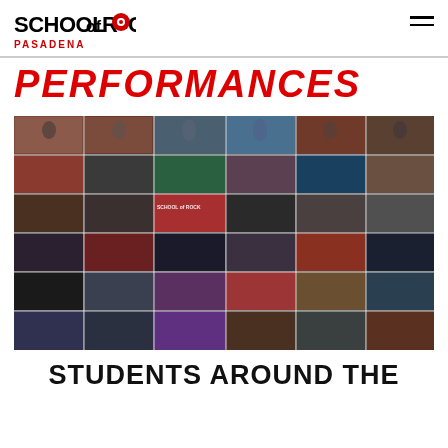SCHOOL OF ROCK PASADENA
PERFORMANCES
[Figure (photo): A collage of student musicians performing — singers, guitarists, drummers — in various video thumbnails arranged in a grid, showing students from School of Rock playing instruments and singing in studio and stage settings.]
STUDENTS AROUND THE